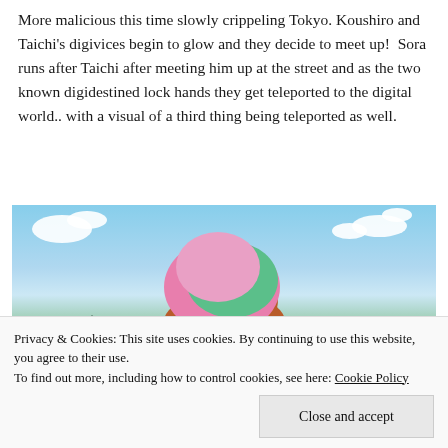More malicious this time slowly crippeling Tokyo. Koushiro and Taichi's digivices begin to glow and they decide to meet up!  Sora runs after Taichi after meeting him up at the street and as the two known digidestined lock hands they get teleported to the digital world.. with a visual of a third thing being teleported as well.
[Figure (illustration): Anime illustration of a young girl with short orange hair wearing a pink and green hat, smiling, with a blue sky and mountains in the background.]
Privacy & Cookies: This site uses cookies. By continuing to use this website, you agree to their use.
To find out more, including how to control cookies, see here: Cookie Policy